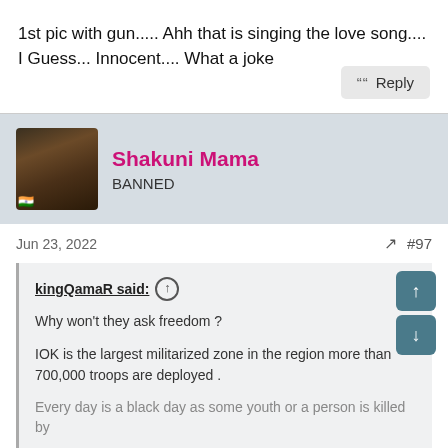1st pic with gun..... Ahh that is singing the love song.... I Guess... Innocent.... What a joke
Reply
Shakuni Mama
BANNED
Jun 23, 2022  #97
kingQamaR said:
Why won't they ask freedom ?
IOK is the largest militarized zone in the region more than 700,000 troops are deployed .
Every day is a black day as some youth or a person is killed by